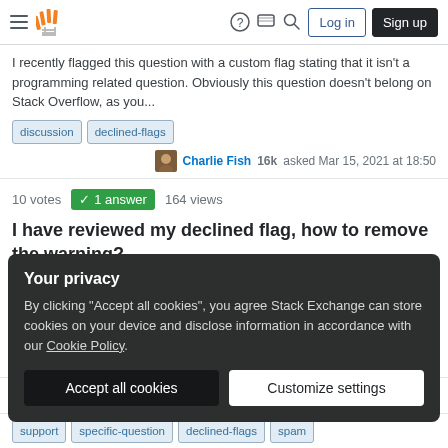Stack Overflow navigation bar with hamburger menu, logo, help, chat, search icons, Log in and Sign up buttons
I recently flagged this question with a custom flag stating that it isn't a programming related question. Obviously this question doesn't belong on Stack Overflow, as you...
discussion
declined-flags
Charlie Fish 16k asked Mar 15, 2021 at 18:50
10 votes  ✓ 1 answer  164 views
I have reviewed my declined flag, how to remove the warning?
I recently had a mod flag declined on meta. I don't disagree with the rejection. But whenever I go to flag a question on meta I get a warning saying: Your recent flag w...
support
declined-flags
Your privacy
By clicking "Accept all cookies", you agree Stack Exchange can store cookies on your device and disclose information in accordance with our Cookie Policy.
support
specific-question
declined-flags
spam